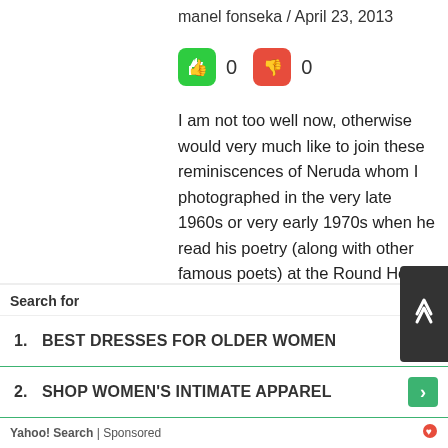manel fonseka / April 23, 2013
[Figure (other): Green thumbs-up button showing 0 votes and red thumbs-down button showing 0 votes]
I am not too well now, otherwise would very much like to join these reminiscences of Neruda whom I photographed in the very late 1960s or very early 1970s when he read his poetry (along with other famous poets) at the Round House in Chalk Farm (on an anniversary of the Cuban Revolution, I think it was). Thank you Dr Fernando for giving us this chance to learn about & share what we might know about the marvellous poet. I hope to come back to this in a few days even if
[Figure (other): Close (X) button overlay]
Search for
1. BEST DRESSES FOR OLDER WOMEN
2. SHOP WOMEN'S INTIMATE APPAREL
Yahoo! Search | Sponsored